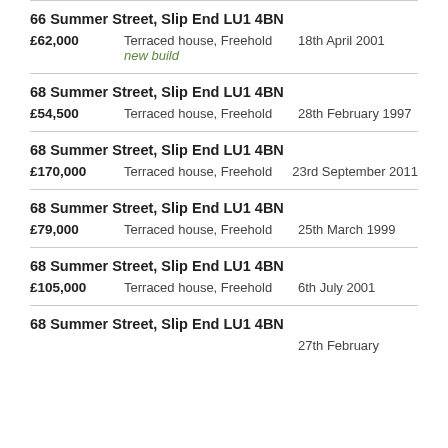66 Summer Street, Slip End LU1 4BN | £62,000 | Terraced house, Freehold | new build | 18th April 2001
68 Summer Street, Slip End LU1 4BN | £54,500 | Terraced house, Freehold | 28th February 1997
68 Summer Street, Slip End LU1 4BN | £170,000 | Terraced house, Freehold | 23rd September 2011
68 Summer Street, Slip End LU1 4BN | £79,000 | Terraced house, Freehold | 25th March 1999
68 Summer Street, Slip End LU1 4BN | £105,000 | Terraced house, Freehold | 6th July 2001
68 Summer Street, Slip End LU1 4BN | 27th February